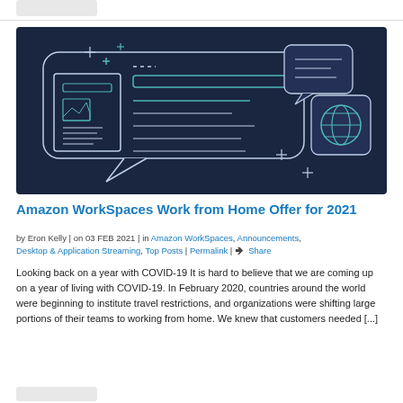[Figure (illustration): Dark navy blue banner illustration showing a chat bubble interface with document/analytics icons, a speech bubble with lines representing text, a globe icon, and decorative plus/cross symbols in white and teal outlines on a dark background.]
Amazon WorkSpaces Work from Home Offer for 2021
by Eron Kelly | on 03 FEB 2021 | in Amazon WorkSpaces, Announcements, Desktop & Application Streaming, Top Posts | Permalink | Share
Looking back on a year with COVID-19 It is hard to believe that we are coming up on a year of living with COVID-19. In February 2020, countries around the world were beginning to institute travel restrictions, and organizations were shifting large portions of their teams to working from home. We knew that customers needed [...]